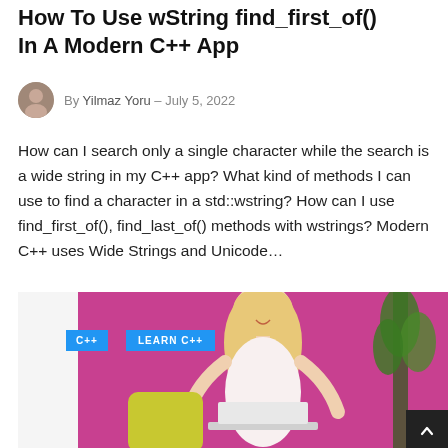How To Use wString find_first_of() In A Modern C++ App
By Yilmaz Yoru  -  July 5, 2022
How can I search only a single character while the search is a wide string in my C++ app? What kind of methods I can use to find a character in a std::wstring? How can I use find_first_of(), find_last_of() methods with wstrings? Modern C++ uses Wide Strings and Unicode…
[Figure (photo): A woman with long blonde hair smiling and working on a laptop, sitting against a pink wall with a yellow pillow. Badges reading 'C++' and 'LEARN C++' are overlaid on the left side of the image. A plant is visible on the right edge. A dark scroll-to-top button is in the bottom right corner.]